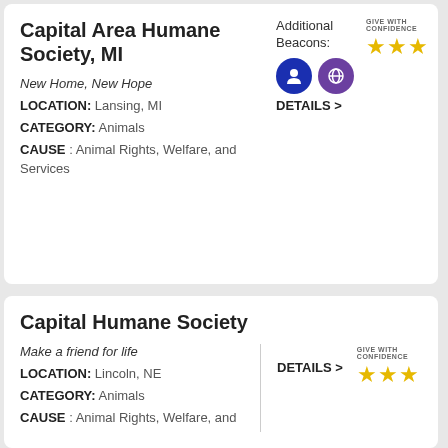Capital Area Humane Society, MI
New Home, New Hope
LOCATION: Lansing, MI
CATEGORY: Animals
CAUSE: Animal Rights, Welfare, and Services
[Figure (infographic): Give With Confidence badge with 3 gold stars, two beacon icons (blue person icon, purple globe icon), and DETAILS > link]
Capital Humane Society
Make a friend for life
LOCATION: Lincoln, NE
CATEGORY: Animals
CAUSE: Animal Rights, Welfare, and
[Figure (infographic): DETAILS > link and Give With Confidence badge with 3 gold stars]